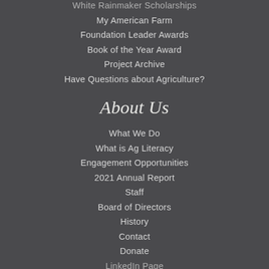White Rainmaker Scholarships
My American Farm
Foundation Leader Awards
Book of the Year Award
Project Archive
Have Questions about Agriculture?
About Us
What We Do
What is Ag Literacy
Engagement Opportunities
2021 Annual Report
Staff
Board of Directors
History
Contact
Donate
LinkedIn Page